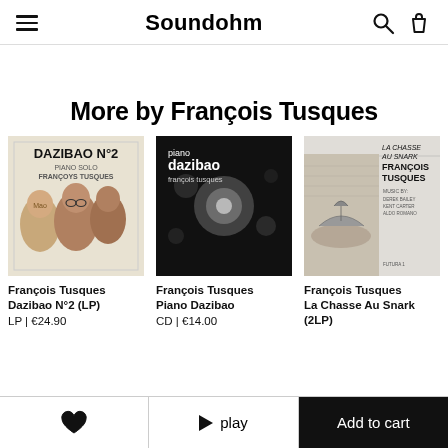Soundohm
More by François Tusques
[Figure (photo): Album cover: Dazibao N°2, Piano Solo, François Tusques - illustrated portraits of political figures]
François Tusques
Dazibao N°2 (LP)
LP | €24.90
[Figure (photo): Album cover: piano dazibao, François Tusques - black and white bokeh photo]
François Tusques
Piano Dazibao
CD | €14.00
[Figure (photo): Album cover: La Chasse Au Snark, François Tusques - illustrated scene with figures]
François Tusques
La Chasse Au Snark (2LP)
♥  ▶ play  Add to cart